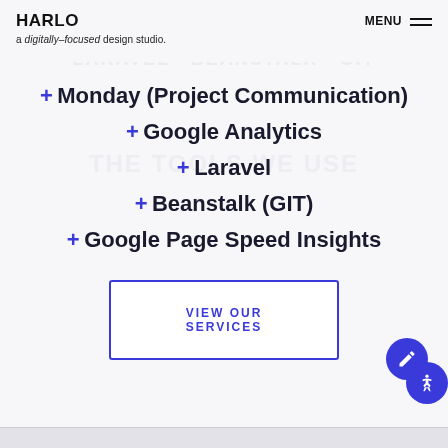HARLO — a digitally-focused design studio.
+ Monday (Project Communication)
+ Google Analytics
+ Laravel
+ Beanstalk (GIT)
+ Google Page Speed Insights
VIEW OUR SERVICES